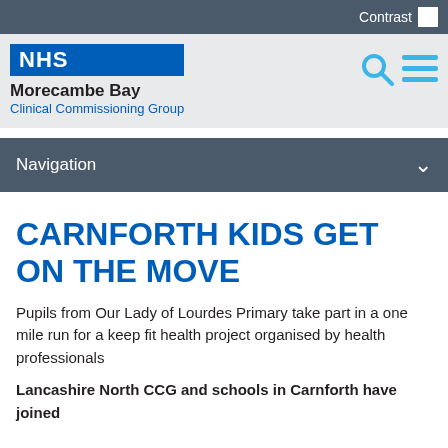Contrast
[Figure (logo): NHS Morecambe Bay Clinical Commissioning Group logo with NHS blue badge and organisation name]
[Figure (screenshot): Search and navigation hamburger menu icons in blue]
Navigation
CARNFORTH KIDS GET ON THE MOVE
Pupils from Our Lady of Lourdes Primary take part in a one mile run for a keep fit health project organised by health professionals
Lancashire North CCG and schools in Carnforth have joined